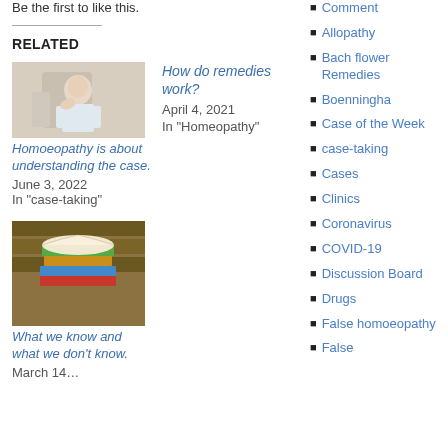Be the first to like this.
RELATED
[Figure (photo): Doctor with hand on head, looking thoughtful, in a clinical setting]
Homoeopathy is about understanding the case.
June 3, 2022
In "case-taking"
[Figure (photo): Stack of books with an open book on top, in a library setting]
What we know and what we don't know.
March 14…
How do remedies work?
April 4, 2021
In "Homeopathy"
Comment
Allopathy
Bach flower Remedies
Boenningha
Case of the Week
case-taking
Cases
Clinics
Coronavirus
COVID-19
Discussion Board
Drugs
False homoeopathy
False